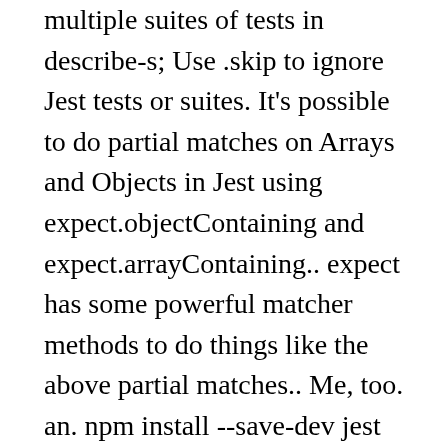multiple suites of tests in describe-s; Use .skip to ignore Jest tests or suites. It's possible to do partial matches on Arrays and Objects in Jest using expect.objectContaining and expect.arrayContaining.. expect has some powerful matcher methods to do things like the above partial matches.. Me, too. an. npm install --save-dev jest @types/jest ts-jest typescript For ease of use install jest as global package. //If this resolves then the test will pass, // it is important to call this here or every test will timeout, // asynchronously read each line into lines, microsoft/accessibility-insights-web#3600. A unit test should not trigger network requests, such as calls to a REST API. It